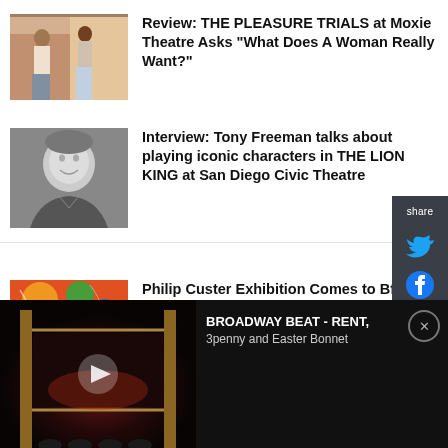[Figure (photo): Two actresses on stage in THE PLEASURE TRIALS at Moxie Theatre]
Review: THE PLEASURE TRIALS at Moxie Theatre Asks “What Does A Woman Really Want?”
[Figure (photo): Black and white headshot of Tony Freeman, smiling]
Interview: Tony Freeman talks about playing iconic characters in THE LION KING at San Diego Civic Theatre
[Figure (photo): Colorful artwork from Philip Custer Exhibition]
Philip Custer Exhibition Comes to Bfree Studio La Jolla Next Month
[Figure (screenshot): Social share sidebar with Twitter and Facebook icons on dark gray background]
[Figure (photo): Video thumbnail of Broadway theatre interior with play button]
BROADWAY BEAT - RENT, 3penny and Easter Bonnet